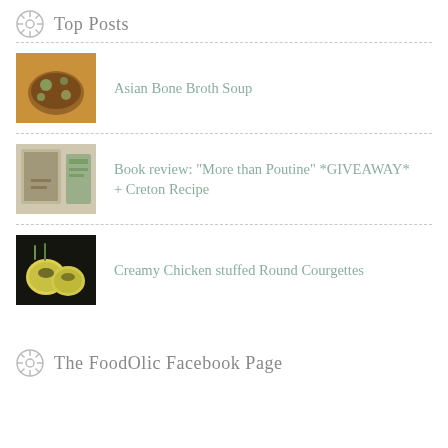Top Posts
Asian Bone Broth Soup
Book review: "More than Poutine" *GIVEAWAY* + Creton Recipe
Creamy Chicken stuffed Round Courgettes
The FoodOlic Facebook Page
My Channel